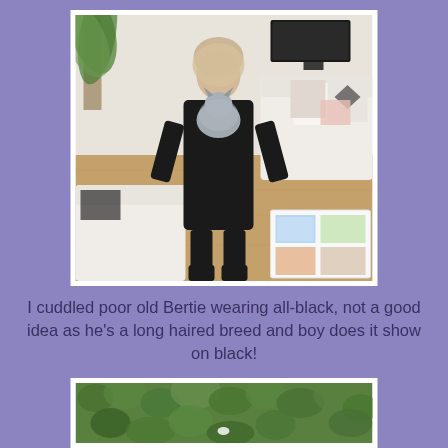[Figure (photo): A person dressed in all-black clothing holding a grey long-haired cat (Bertie) in a bright living room with white sofas, patterned cushions, a wooden floor, a coffee table with magazines, and a large plant in the background.]
I cuddled poor old Bertie wearing all-black, not a good idea as he's a long haired breed and boy does it show on black!
[Figure (photo): A partial view of what appears to be a garden or outdoor scene with dense green foliage/hedge.]